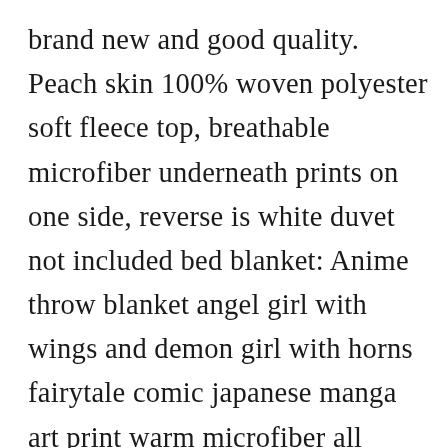brand new and good quality. Peach skin 100% woven polyester soft fleece top, breathable microfiber underneath prints on one side, reverse is white duvet not included bed blanket: Anime throw blanket angel girl with wings and demon girl with horns fairytale comic japanese manga art print warm microfiber all season blanket for. Anime hentai tv anime hh symbol anime hero girl outfit anime hero academia uraraka anime high school dxd cosplay anime himouto umaru chan anime hero